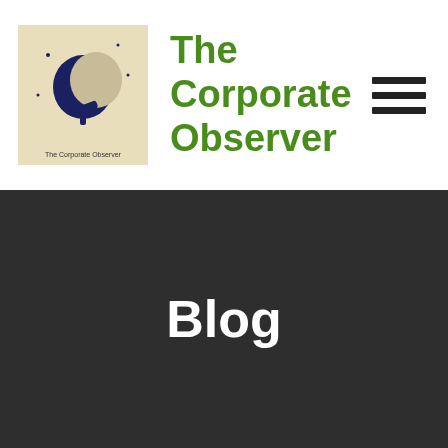The Corporate Observer
[Figure (logo): The Corporate Observer logo — square image with beige/cream background showing a dark blue crescent moon and telescope silhouette with small stars, text 'The Corporate Observer' at bottom]
Blog